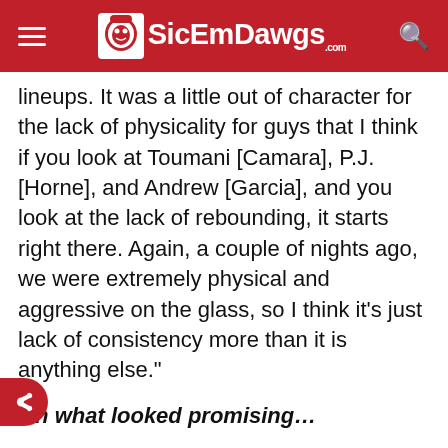SicEmDawgs.com
lineups. It was a little out of character for the lack of physicality for guys that I think if you look at Toumani [Camara], P.J. [Horne], and Andrew [Garcia], and you look at the lack of rebounding, it starts right there. Again, a couple of nights ago, we were extremely physical and aggressive on the glass, so I think it’s just lack of consistency more than it is anything else.”
On what looked promising…
“They were locked in, everybody was locked in. It was—you never know if you are going to n the game, but to play with the lack of irit and to play with the lack of